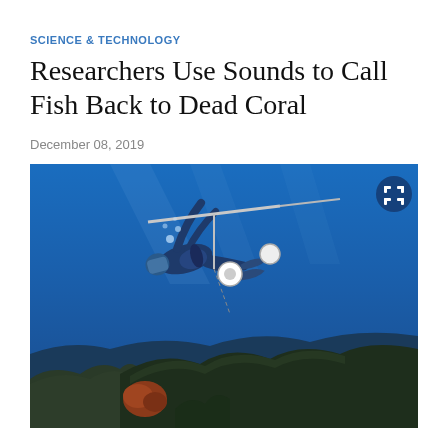SCIENCE & TECHNOLOGY
Researchers Use Sounds to Call Fish Back to Dead Coral
December 08, 2019
[Figure (photo): An underwater photograph showing a scuba diver holding a pole with speakers/equipment attached, swimming above a dead coral reef. The water is deep blue and the coral below is dark and sparse.]